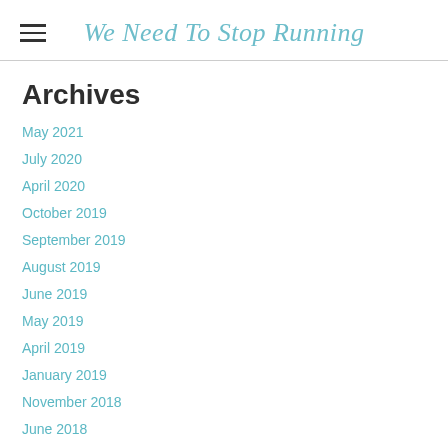We Need To Stop Running
Archives
May 2021
July 2020
April 2020
October 2019
September 2019
August 2019
June 2019
May 2019
April 2019
January 2019
November 2018
June 2018
April 2018
August 2017
May 2017